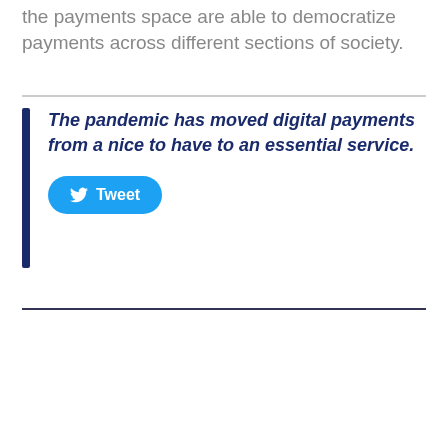the payments space are able to democratize payments across different sections of society.
The pandemic has moved digital payments from a nice to have to an essential service.
[Figure (other): Tweet button with Twitter bird icon]